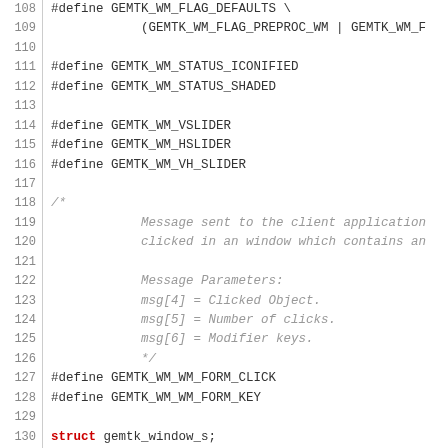[Figure (screenshot): Source code listing lines 108-137 of a C header file showing #define macros for GEMTK window manager flags, status codes, slider definitions, a comment block about message parameters, form click/key defines, struct and typedef declarations for gemtk_window_s and GUIWIN, and a typedef for an event handler function.]